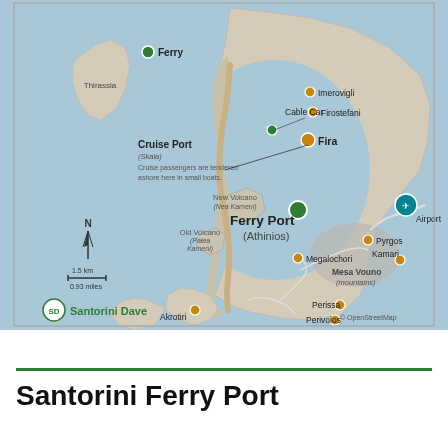[Figure (map): Map of Santorini island showing Ferry Port (Athinios), Cruise Port (Skala), Cable Car, Fira, Imerovigli, Firostefani, Airport, Akrotiri, Pyrgos, Megalochori, Kamari, Mesa Vouno (mountains), Perissa, Perivolos, Old Volcano (Palea Kameni), New Volcano (Nea Kameni), Thirassia, Ferry terminal. North arrow and scale bar (1.5 km / 0.93 miles). Credited to Santorini Dave and OpenStreetMap.]
Santorini Ferry Port